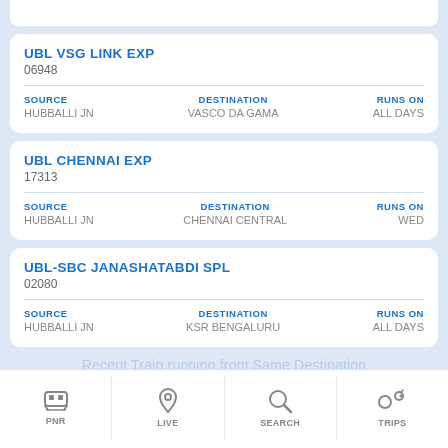UBL VSG LINK EXP
06948
SOURCE: HUBBALLI JN | DESTINATION: VASCO DA GAMA | RUNS ON: ALL DAYS
UBL CHENNAI EXP
17313
SOURCE: HUBBALLI JN | DESTINATION: CHENNAI CENTRAL | RUNS ON: WED
UBL-SBC JANASHATABDI SPL
02080
SOURCE: HUBBALLI JN | DESTINATION: KSR BENGALURU | RUNS ON: ALL DAYS
PNR | LIVE | SEARCH | TRIPS